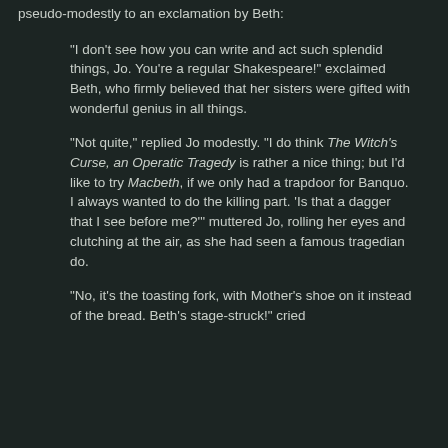pseudo-modestly to an exclamation by Beth:
"I don't see how you can write and act such splendid things, Jo. You're a regular Shakespeare!" exclaimed Beth, who firmly believed that her sisters were gifted with wonderful genius in all things.
"Not quite," replied Jo modestly. "I do think The Witch's Curse, an Operatic Tragedy is rather a nice thing; but I'd like to try Macbeth, if we only had a trapdoor for Banquo. I always wanted to do the killing part. 'Is that a dagger that I see before me?'" muttered Jo, rolling her eyes and clutching at the air, as she had seen a famous tragedian do.
"No, it's the toasting fork, with Mother's shoe on it instead of the bread. Beth's stage-struck!" cried